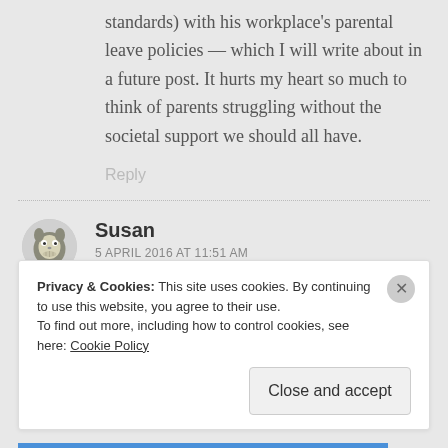standards) with his workplace's parental leave policies — which I will write about in a future post. It hurts my heart so much to think of parents struggling without the societal support we should all have.
Reply
Susan
5 APRIL 2016 AT 11:51 AM
Privacy & Cookies: This site uses cookies. By continuing to use this website, you agree to their use. To find out more, including how to control cookies, see here: Cookie Policy
Close and accept